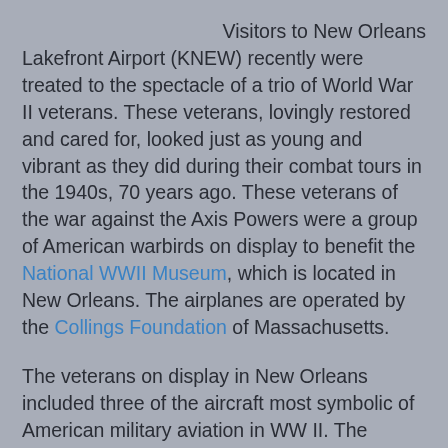Visitors to New Orleans Lakefront Airport (KNEW) recently were treated to the spectacle of a trio of World War II veterans. These veterans, lovingly restored and cared for, looked just as young and vibrant as they did during their combat tours in the 1940s, 70 years ago. These veterans of the war against the Axis Powers were a group of American warbirds on display to benefit the National WWII Museum, which is located in New Orleans. The airplanes are operated by the Collings Foundation of Massachusetts.
The veterans on display in New Orleans included three of the aircraft most symbolic of American military aviation in WW II. The Consolidated B-24 Liberator bomber is the 11th highest produced airplane in history with 18,482 built. The B-24 was perhaps best known for the famous Allied raid on the oil fields of Ploesti, Romania in August 1943. It served in a variety of roles including maritime patrol and anti-submarine warfare, cargo transport, clandestine insertion of spies behind the lines of Nazi-occupied Europe and rescue of